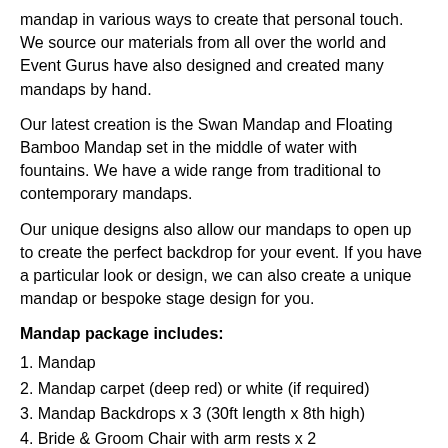mandap in various ways to create that personal touch. We source our materials from all over the world and Event Gurus have also designed and created many mandaps by hand.
Our latest creation is the Swan Mandap and Floating Bamboo Mandap set in the middle of water with fountains. We have a wide range from traditional to contemporary mandaps.
Our unique designs also allow our mandaps to open up to create the perfect backdrop for your event. If you have a particular look or design, we can also create a unique mandap or bespoke stage design for you.
Mandap package includes:
1. Mandap
2. Mandap carpet (deep red) or white (if required)
3. Mandap Backdrops x 3 (30ft length x 8th high)
4. Bride & Groom Chair with arm rests x 2
5. Side Chairs without armrest x 2
6. Bajot (square) x 2 (for pooja)